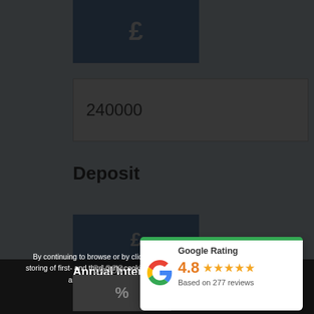[Figure (other): Pound sterling symbol in a blue box, acting as a currency input prefix]
240000
Deposit
[Figure (other): Second pound sterling symbol box (partially visible under dark overlay)]
By continuing to browse or by clicking “Accept All Cookies,” you agree to the storing of first- and third-party cookies on your device to enhance site navigation, analyse site usage, and assist in our marketing efforts.
Annual Interest
24000
[Figure (other): Percent symbol box for Annual Interest rate input]
Priv
[Figure (other): Google Rating widget showing 4.8 stars based on 277 reviews]